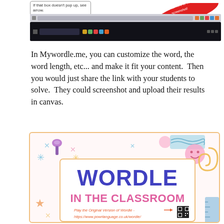[Figure (screenshot): Screenshot of a Windows taskbar/browser interface with a red arrow annotation saying 'Click here to save your screenshot' and a callout box saying 'If that box doesn't pop up, see arrow.']
In Mywordle.me, you can customize the word, the word length, etc... and make it fit your content.  Then you would just share the link with your students to solve.  They could screenshot and upload their results in canvas.
[Figure (illustration): Colorful illustrated card showing 'WORDLE IN THE CLASSROOM' in bold blue and pink text with decorative elements (pushpin, stars, smiley face, paperclip, tape). Includes text 'Play the Original Version of Wordle - https://www.powrlanguage.co.uk/wordle/' with a QR code.]